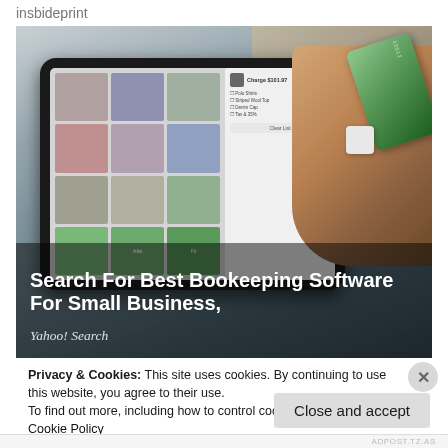insbideprint
[Figure (photo): A tablet showing a point-of-sale bookkeeping app with product thumbnails and a checkout screen, held near a hand swiping an American Express credit card using a card reader attached to the tablet.]
Search For Best Bookeeping Software For Small Business,
Yahoo! Search
Privacy & Cookies: This site uses cookies. By continuing to use this website, you agree to their use.
To find out more, including how to control cookies, see here: Cookie Policy
ADPOST.TZ.AS